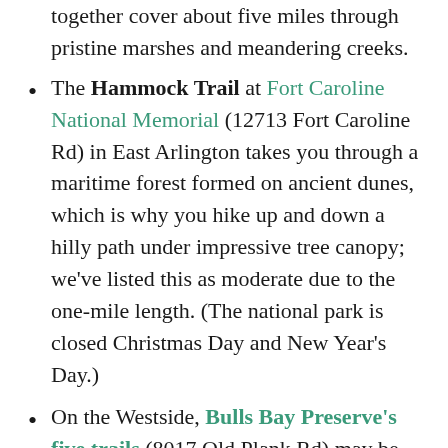together cover about five miles through pristine marshes and meandering creeks.
The Hammock Trail at Fort Caroline National Memorial (12713 Fort Caroline Rd) in East Arlington takes you through a maritime forest formed on ancient dunes, which is why you hike up and down a hilly path under impressive tree canopy; we've listed this as moderate due to the one-mile length. (The national park is closed Christmas Day and New Year's Day.)
On the Westside, Bulls Bay Preserve's five trails (8017 Old Plank Rd) may be calling you with names like Bridge Loop, Live Oak Loop, Lily Pond, Old Plank Trail